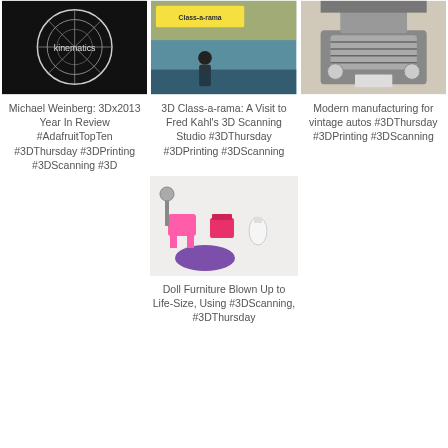[Figure (photo): Black circular kinematics object on dark background with white text 'kinematics']
[Figure (photo): Person performing on stage at 3D Class-a-rama event with banner visible]
[Figure (photo): Front grille of a vintage classic car, black and white]
Michael Weinberg: 3Dx2013 Year In Review #AdafruitTopTen #3DThursday #3DPrinting #3DScanning #3D
3D Class-a-rama: A Visit to Fred Kahl's 3D Scanning Studio #3DThursday #3DPrinting #3DScanning
Modern manufacturing for vintage autos #3DThursday #3DPrinting #3DScanning
[Figure (photo): 3D printed doll furniture items: pink chair, pink box, baby bottle, purple shoe, on white background]
Doll Furniture Blown Up to Life-Size, Using #3DScanning, #3DThursday